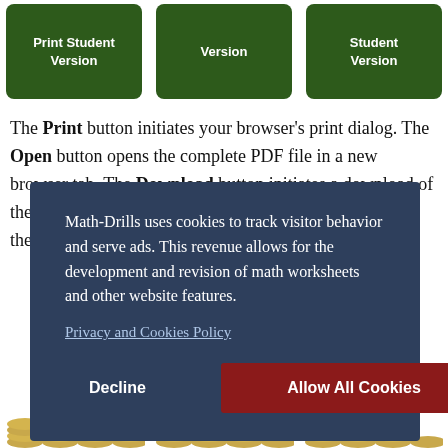[Figure (screenshot): Three green buttons labeled 'Print Student Version', 'Version', and 'Student Version' on dark green rounded rectangle backgrounds]
The Print button initiates your browser's print dialog. The Open button opens the complete PDF file in a new browser tab. The Download button initiates a download of the PDF math worksheet. Teacher versions include both the question
Math-Drills uses cookies to track visitor behavior and serve ads. This revenue allows for the development and revision of math worksheets and other website features.
Privacy and Cookies Policy
Decline   Allow All Cookies
[Figure (illustration): Partial view of coin images at the bottom of the page]